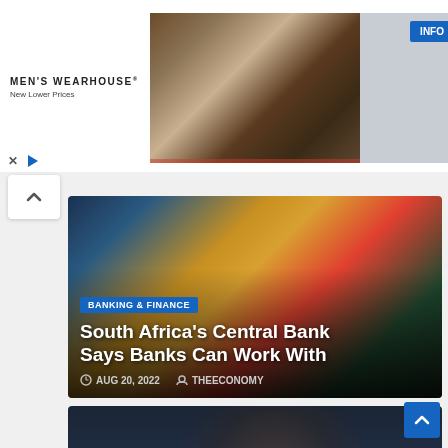[Figure (photo): Men's Wearhouse advertisement banner showing a couple in formal wear and a man in a suit, with an INFO button on the right side]
[Figure (photo): Article card: South Africa's Central Bank with cryptocurrency coins and justice statue against South African flag background. Tag: BANKING & FINANCE. Date: AUG 20, 2022. Author: THEECONOMY.]
South Africa's Central Bank Says Banks Can Work With
AUG 20, 2022   THEECONOMY
[Figure (photo): Article card: ICT section showing a man's face against dark blue background. Title: How AI Could Transform Financial Services in]
How AI Could Transform Financial Services in